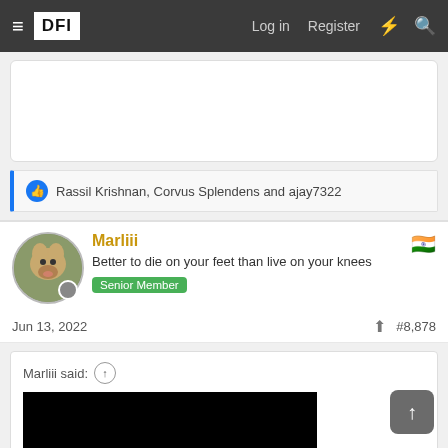DFI — Log in  Register
[Figure (other): White card area, partially visible, empty content]
Rassil Krishnan, Corvus Splendens and ajay7322
Marliii — Better to die on your feet than live on your knees — Senior Member
Jun 13, 2022  #8,878
Marliii said: ↑
[Figure (photo): Black rectangle image embedded in quote block]